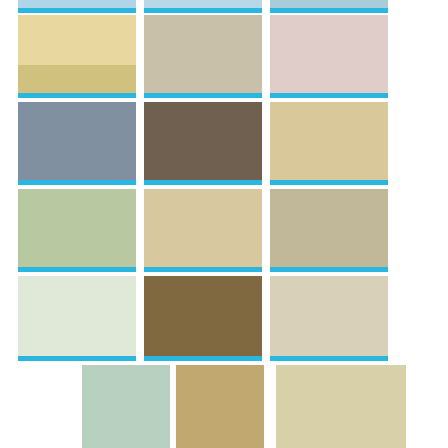[Figure (photo): Grid of wedding invitation photos arranged in rows of 3, with a blue bar under each image]
Thank you for visiting The Most Beautiful Wedding Invitations 1244 Beste Afbeeldingen Van Wedding Invitations
If you found any images copyrighted to yours, please contact us and we will remove it. We don't intend to